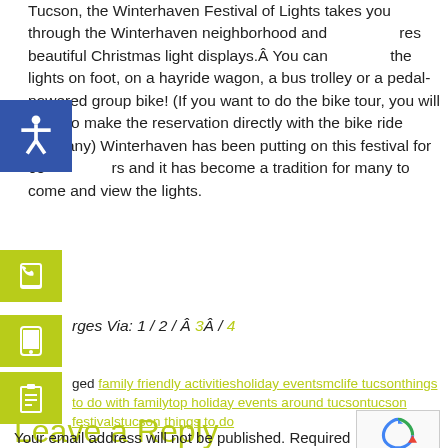Tucson, the Winterhaven Festival of Lights takes you through the Winterhaven neighborhood and features beautiful Christmas light displays.Â  You can view the lights on foot, on a hayride wagon, a bus trolley or a pedal-powered group bike! (If you want to do the bike tour, you will need to make the reservation directly with the bike ride company) Winterhaven has been putting on this festival for 65 years and it has become a tradition for many to come and view the lights.
Pages Via: 1 / 2 / Â 3Â / 4
Tagged family friendly activities holiday events mclife tucson things to do with family top holiday events around tucson tucson festivals tucson things to do
Leave a Reply
Your email address will not be published. Required